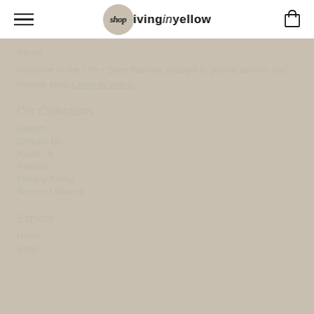shop living in yellow
About
Welcome to the Life + Style Planner, brought to you by fashion and lifestyle blog, Living in Yellow.
Our Collections
Search
Contact Us
About Us
Returns
Privacy Policy
Terms of Service
Explore
Home
Shop